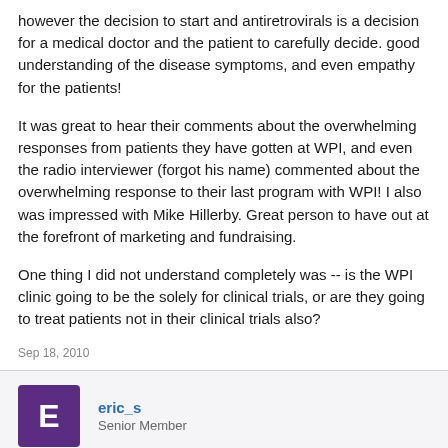however the decision to start and antiretrovirals is a decision for a medical doctor and the patient to carefully decide. good understanding of the disease symptoms, and even empathy for the patients!
It was great to hear their comments about the overwhelming responses from patients they have gotten at WPI, and even the radio interviewer (forgot his name) commented about the overwhelming response to their last program with WPI! I also was impressed with Mike Hillerby. Great person to have out at the forefront of marketing and fundraising.
One thing I did not understand completely was -- is the WPI clinic going to be the solely for clinical trials, or are they going to treat patients not in their clinical trials also?
Sep 18, 2010
eric_s
Senior Member